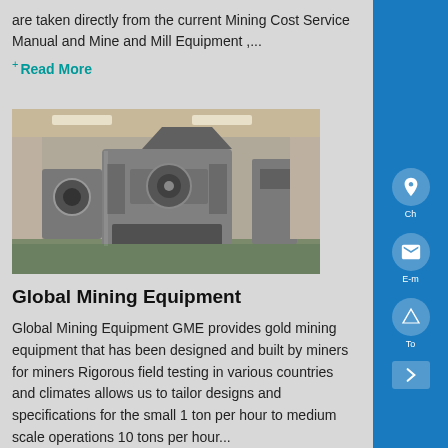are taken directly from the current Mining Cost Service Manual and Mine and Mill Equipment ,...
+ Read More
[Figure (photo): Industrial mining equipment — large crusher/mill machine in a factory or warehouse setting]
Global Mining Equipment
Global Mining Equipment GME provides gold mining equipment that has been designed and built by miners for miners Rigorous field testing in various countries and climates allows us to tailor designs and specifications for the small 1 ton per hour to medium scale operations 10 tons per hour...
+ Read More